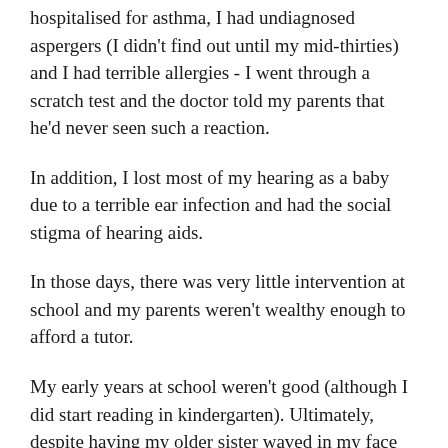When I was young, I was frequently hospitalised for asthma, I had undiagnosed aspergers (I didn't find out until my mid-thirties) and I had terrible allergies - I went through a scratch test and the doctor told my parents that he'd never seen such a reaction.
In addition, I lost most of my hearing as a baby due to a terrible ear infection and had the social stigma of hearing aids.
In those days, there was very little intervention at school and my parents weren't wealthy enough to afford a tutor.
My early years at school weren't good (although I did start reading in kindergarten). Ultimately, despite having my older sister waved in my face for my entire childhood, I ended up doing 10% better than